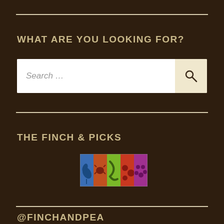WHAT ARE YOU LOOKING FOR?
[Figure (screenshot): Search bar with placeholder text 'Search ...' and a magnifying glass icon button on the right]
THE FINCH & PICKS
[Figure (logo): Five colored square panels (blue, orange-red, green, red, purple) each containing a nature/food icon forming the Finch & Picks logo]
@FINCHANDPEA